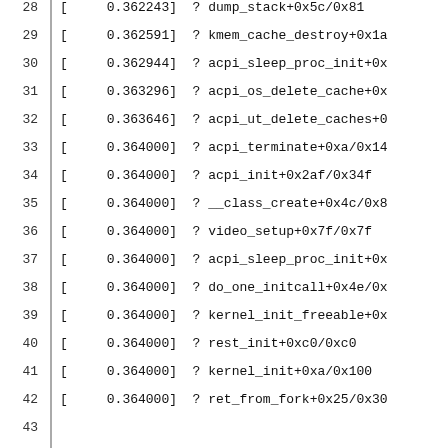28   [     0.362243]  ? dump_stack+0x5c/0x81
29   [     0.362591]  ? kmem_cache_destroy+0x1a
30   [     0.362944]  ? acpi_sleep_proc_init+0x
31   [     0.363296]  ? acpi_os_delete_cache+0x
32   [     0.363646]  ? acpi_ut_delete_caches+0
33   [     0.364000]  ? acpi_terminate+0xa/0x14
34   [     0.364000]  ? acpi_init+0x2af/0x34f
35   [     0.364000]  ? __class_create+0x4c/0x8
36   [     0.364000]  ? video_setup+0x7f/0x7f
37   [     0.364000]  ? acpi_sleep_proc_init+0x
38   [     0.364000]  ? do_one_initcall+0x4e/0x
39   [     0.364000]  ? kernel_init_freeable+0x
40   [     0.364000]  ? rest_init+0xc0/0xc0
41   [     0.364000]  ? kernel_init+0xa/0x100
42   [     0.364000]  ? ret_from_fork+0x25/0x30
43
44   I analyzed this memory leak in detail. I
45   "Acpi-Parse" cache were merged because th
46   slab cache size.
47
48   I finally found "Acpi-Parse" cache and "A
49   using SLAB_NEVER_MERGE flag in kmem_cache
50
51   Real ACPI cache leak point is as follows:
52   [     0.364000]  ACPI: ...